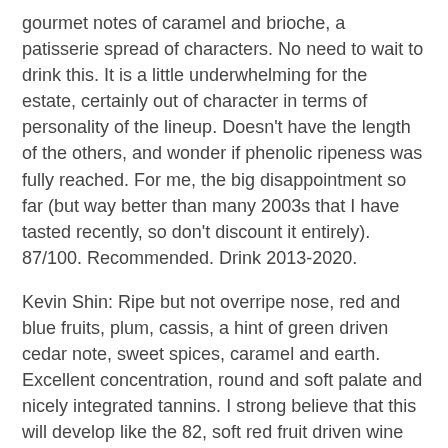gourmet notes of caramel and brioche, a patisserie spread of characters. No need to wait to drink this. It is a little underwhelming for the estate, certainly out of character in terms of personality of the lineup. Doesn't have the length of the others, and wonder if phenolic ripeness was fully reached. For me, the big disappointment so far (but way better than many 2003s that I have tasted recently, so don't discount it entirely). 87/100. Recommended. Drink 2013-2020.
Kevin Shin: Ripe but not overripe nose, red and blue fruits, plum, cassis, a hint of green driven cedar note, sweet spices, caramel and earth. Excellent concentration, round and soft palate and nicely integrated tannins. I strong believe that this will develop like the 82, soft red fruit driven wine with strong note of cedar. (93 pts.)
Panos Kakaviatos: Cornucopia of aromas and flavors and not cooked or jammy. One of the very best wines from this torrid vintage - and it is no coincidence that Calon Segur is in the northern Medoc. It lacks the substance of the greater mid palates from 2003 (Pichon Baron or Leoville Barton for